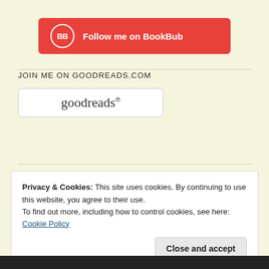[Figure (logo): BookBub red button with 'BB' circle icon and text 'Follow me on BookBub']
JOIN ME ON GOODREADS.COM
[Figure (logo): Goodreads logo in a white rounded rectangle box]
Privacy & Cookies: This site uses cookies. By continuing to use this website, you agree to their use.
To find out more, including how to control cookies, see here: Cookie Policy
Close and accept